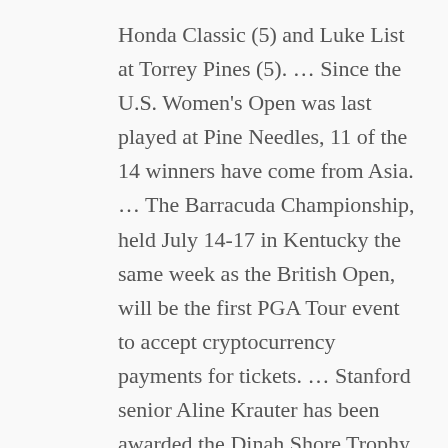Honda Classic (5) and Luke List at Torrey Pines (5). … Since the U.S. Women's Open was last played at Pine Needles, 11 of the 14 winners have come from Asia. … The Barracuda Championship, held July 14-17 in Kentucky the same week as the British Open, will be the first PGA Tour event to accept cryptocurrency payments for tickets. … Stanford senior Aline Krauter has been awarded the Dinah Shore Trophy for her work on the course and in the classroom. She received an exemption to play the Dana Open in Ohio the first week in September. … The Asia-Pacific Amateur will be played this year at Amata Spring Country Club in Thailand (Oct. 27-30). Amata Spring last hosted the tournament in 2012, when 14-year-old Guan Tianlang won and went on to become